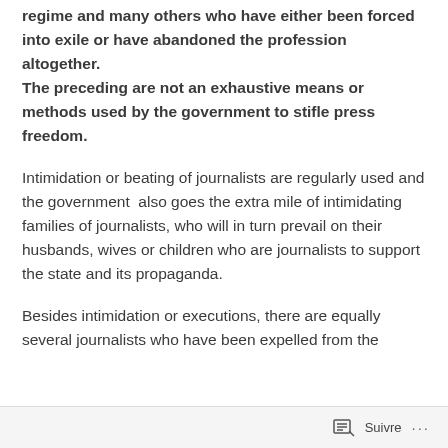regime and many others who have either been forced into exile or have abandoned the profession altogether. The preceding are not an exhaustive means or methods used by the government to stifle press freedom.
Intimidation or beating of journalists are regularly used and the government also goes the extra mile of intimidating families of journalists, who will in turn prevail on their husbands, wives or children who are journalists to support the state and its propaganda.
Besides intimidation or executions, there are equally several journalists who have been expelled from the
Suivre ···